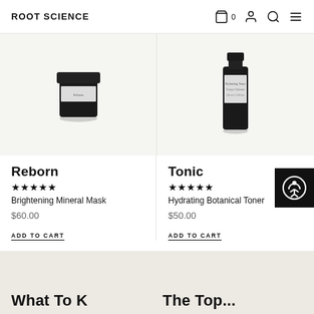ROOT SCIENCE
[Figure (photo): Dark glass jar product photo for Reborn Brightening Mineral Mask, cropped at top]
[Figure (photo): Dark glass bottle product photo for Tonic Hydrating Botanical Toner, cropped at top]
Reborn
★★★★★
Brightening Mineral Mask
$60.00
ADD TO CART
Tonic
★★★★★
Hydrating Botanical Toner
$50.00
ADD TO CART
What To K...
The Top...